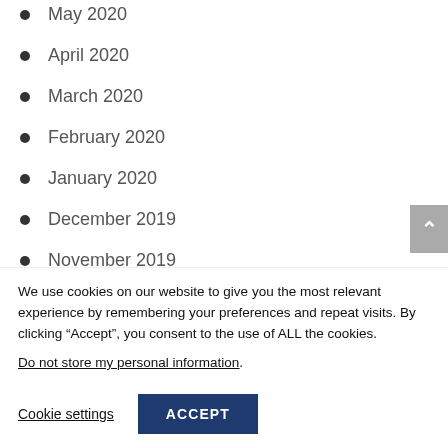May 2020
April 2020
March 2020
February 2020
January 2020
December 2019
November 2019
October 2019
We use cookies on our website to give you the most relevant experience by remembering your preferences and repeat visits. By clicking “Accept”, you consent to the use of ALL the cookies.
Do not store my personal information.
Cookie settings   ACCEPT